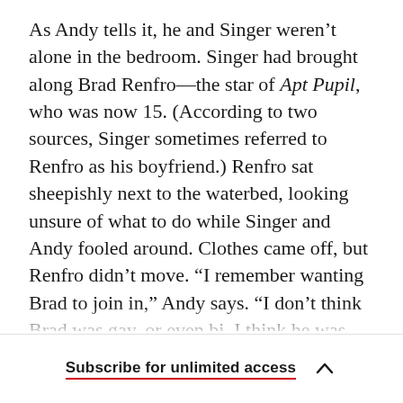As Andy tells it, he and Singer weren't alone in the bedroom. Singer had brought along Brad Renfro—the star of Apt Pupil, who was now 15. (According to two sources, Singer sometimes referred to Renfro as his boyfriend.) Renfro sat sheepishly next to the waterbed, looking unsure of what to do while Singer and Andy fooled around. Clothes came off, but Renfro didn't move. “I remember wanting Brad to join in,” Andy says. “I don’t think Brad was gay, or even bi. I think he was going with the flow. We talked about it. Like me,
Subscribe for unlimited access